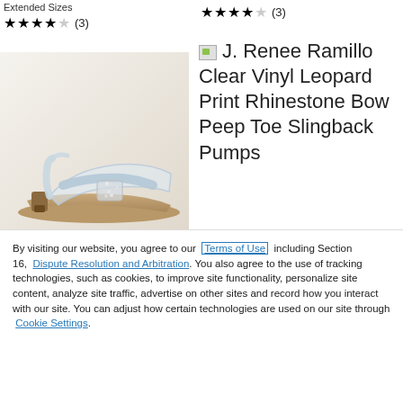Extended Sizes
★★★★☆ (3)
[Figure (photo): Clear vinyl leopard print rhinestone bow peep toe slingback pump shoe product photo]
J. Renee Ramillo Clear Vinyl Leopard Print Rhinestone Bow Peep Toe Slingback Pumps
★★★½☆ (3)
By visiting our website, you agree to our Terms of Use including Section 16, Dispute Resolution and Arbitration. You also agree to the use of tracking technologies, such as cookies, to improve site functionality, personalize site content, analyze site traffic, advertise on other sites and record how you interact with our site. You can adjust how certain technologies are used on our site through Cookie Settings.